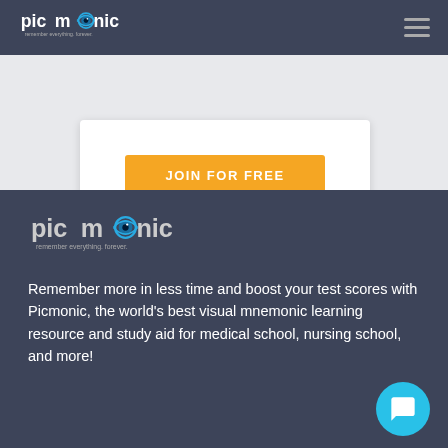[Figure (logo): Picmonic logo in nav bar — 'picmonic' text with eye graphic, tagline 'remember everything. forever.']
[Figure (other): Hamburger menu icon (three horizontal lines) in top-right of nav bar]
JOIN FOR FREE
[Figure (logo): Picmonic footer logo — large 'picmonic' text with eye graphic, tagline 'remember everything. forever.']
Remember more in less time and boost your test scores with Picmonic, the world's best visual mnemonic learning resource and study aid for medical school, nursing school, and more!
[Figure (other): Cyan circular chat/support button with speech bubble icon in bottom-right corner]